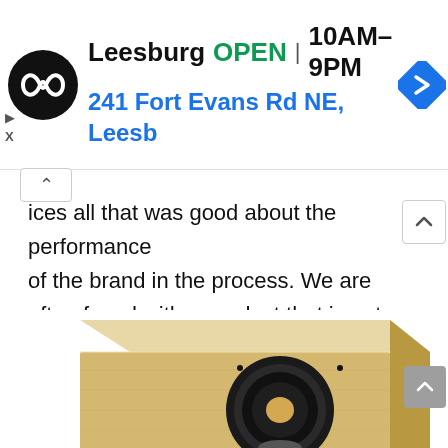[Figure (screenshot): Google Maps / local business ad banner showing: logo (black circle with infinity-like symbol), text 'Leesburg OPEN 10AM–9PM', address '241 Fort Evans Rd NE, Leesb', navigation arrow icon (blue diamond shape), close/collapse button, and nav arrows on left side.]
ices all that was good about the performance of the brand in the process. We are often faced with a product that is not necessarily better than the rank- and-file cheaper models, just bigger, in looks, price-tag, and – most importantly – price.
[Figure (photo): A light wood-finish speaker cabinet (bookshelf/monitor speaker) with a large black woofer driver visible on the front baffle, photographed at a three-quarter angle showing the top, front, and side. The cabinet has a natural birch or maple veneer finish.]